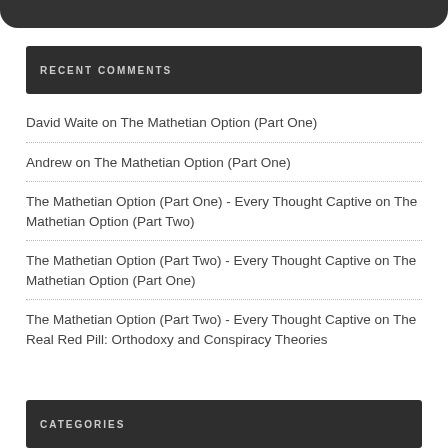RECENT COMMENTS
David Waite on The Mathetian Option (Part One)
Andrew on The Mathetian Option (Part One)
The Mathetian Option (Part One) - Every Thought Captive on The Mathetian Option (Part Two)
The Mathetian Option (Part Two) - Every Thought Captive on The Mathetian Option (Part One)
The Mathetian Option (Part Two) - Every Thought Captive on The Real Red Pill: Orthodoxy and Conspiracy Theories
CATEGORIES